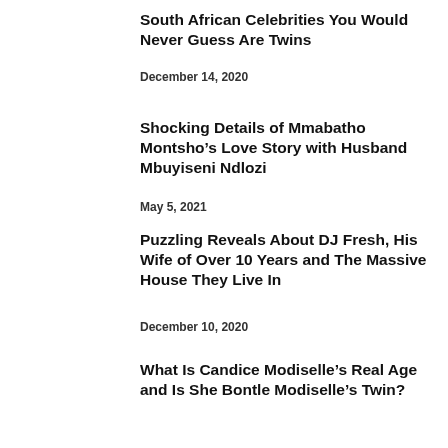South African Celebrities You Would Never Guess Are Twins
December 14, 2020
Shocking Details of Mmabatho Montsho’s Love Story with Husband Mbuyiseni Ndlozi
May 5, 2021
Puzzling Reveals About DJ Fresh, His Wife of Over 10 Years and The Massive House They Live In
December 10, 2020
What Is Candice Modiselle’s Real Age and Is She Bontle Modiselle’s Twin?